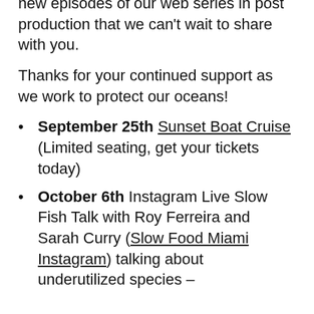new episodes of our web series in post production that we can't wait to share with you.
Thanks for your continued support as we work to protect our oceans!
September 25th Sunset Boat Cruise (Limited seating, get your tickets today)
October 6th Instagram Live Slow Fish Talk with Roy Ferreira and Sarah Curry (Slow Food Miami Instagram) talking about underutilized species –